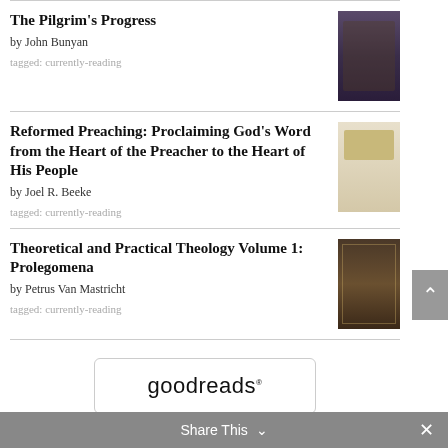The Pilgrim's Progress by John Bunyan tagged: currently-reading
Reformed Preaching: Proclaiming God's Word from the Heart of the Preacher to the Heart of His People by Joel R. Beeke tagged: currently-reading
Theoretical and Practical Theology Volume 1: Prolegomena by Petrus Van Mastricht tagged: currently-reading
[Figure (logo): Goodreads logo button with rounded rectangle border]
Share This ∨  ✕